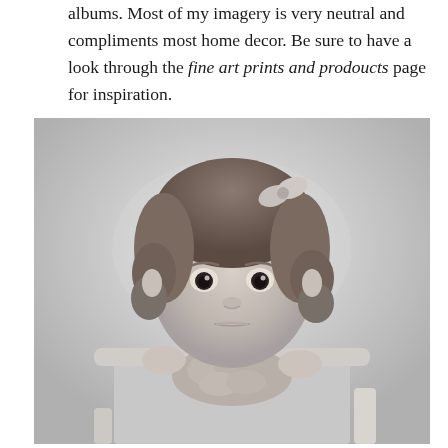albums. Most of my imagery is very neutral and compliments most home decor. Be sure to have a look through the fine art prints and prodoucts page for inspiration.
[Figure (photo): Black and white photograph of a toddler girl with curly hair and a bow, sitting in a white high chair, wearing a ruffled outfit, looking directly at camera.]